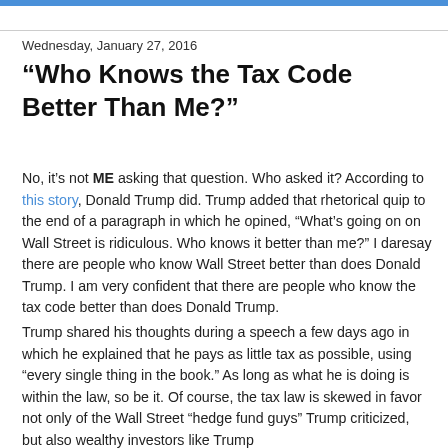Wednesday, January 27, 2016
“Who Knows the Tax Code Better Than Me?”
No, it’s not ME asking that question. Who asked it? According to this story, Donald Trump did. Trump added that rhetorical quip to the end of a paragraph in which he opined, “What’s going on on Wall Street is ridiculous. Who knows it better than me?” I daresay there are people who know Wall Street better than does Donald Trump. I am very confident that there are people who know the tax code better than does Donald Trump.
Trump shared his thoughts during a speech a few days ago in which he explained that he pays as little tax as possible, using “every single thing in the book.” As long as what he is doing is within the law, so be it. Of course, the tax law is skewed in favor not only of the Wall Street “hedge fund guys” Trump criticized, but also wealthy investors like Trump himself. Trump’s plan does not appear to “even out”